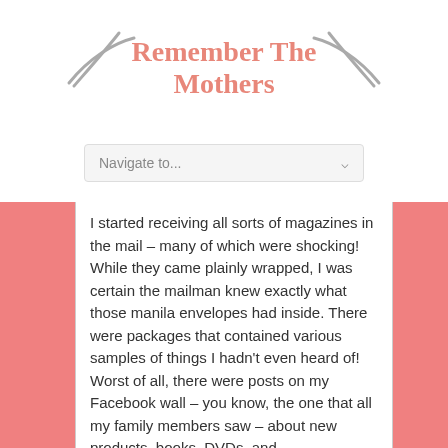Remember The Mothers
Navigate to...
I started receiving all sorts of magazines in the mail – many of which were shocking! While they came plainly wrapped, I was certain the mailman knew exactly what those manila envelopes had inside. There were packages that contained various samples of things I hadn't even heard of! Worst of all, there were posts on my Facebook wall – you know, the one that all my family members saw – about new products, books, DVDs, and